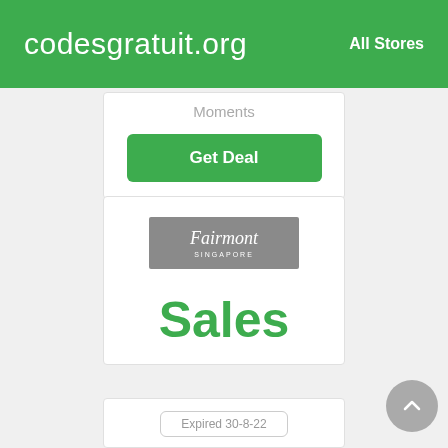codesgratuit.org   All Stores
Moments
Get Deal
[Figure (logo): Fairmont Singapore hotel logo on grey background]
Sales
Expired 30-8-22